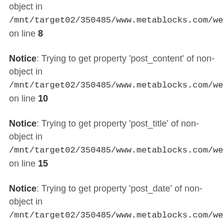object in /mnt/target02/350485/www.metablocks.com/web/con on line 8
Notice: Trying to get property 'post_content' of non-object in /mnt/target02/350485/www.metablocks.com/web/con on line 10
Notice: Trying to get property 'post_title' of non-object in /mnt/target02/350485/www.metablocks.com/web/con on line 15
Notice: Trying to get property 'post_date' of non-object in /mnt/target02/350485/www.metablocks.com/web/con on line 18